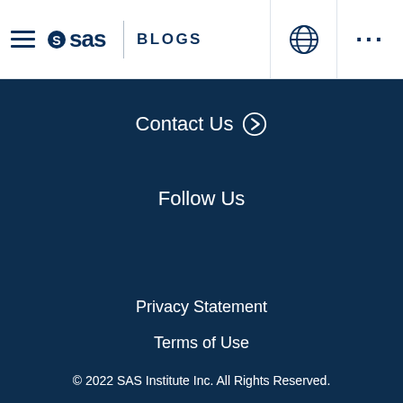SAS BLOGS
Contact Us
Follow Us
Privacy Statement
Terms of Use
© 2022 SAS Institute Inc. All Rights Reserved.